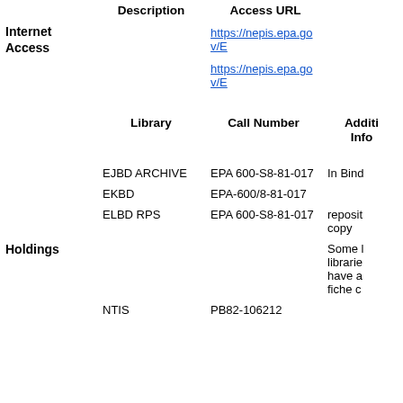|  | Description | Access URL |
| --- | --- | --- |
| Internet Access |  | https://nepis.epa.gov/E |
|  |  | https://nepis.epa.gov/E |
|  | Library | Call Number | Additional Info |
| --- | --- | --- | --- |
|  | EJBD ARCHIVE | EPA 600-S8-81-017 | In Bind |
|  | EKBD | EPA-600/8-81-017 |  |
|  | ELBD RPS | EPA 600-S8-81-017 | reposit copy |
| Holdings |  |  | Some libraries have a fiche c |
|  | NTIS | PB82-106212 |  |